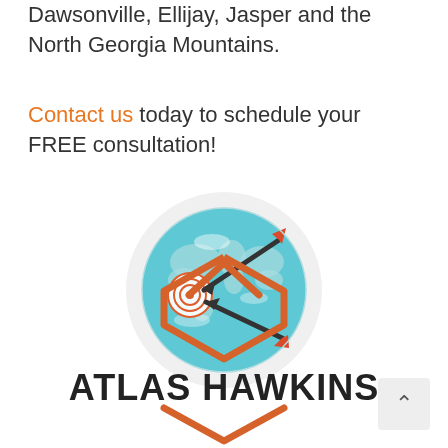Dawsonville, Ellijay, Jasper and the North Georgia Mountains.
Contact us today to schedule your FREE consultation!
[Figure (illustration): Globe with two arrows (one dark, one red/orange tipped) pointing to a target bullseye on the left side of the globe, representing targeting/marketing focus.]
[Figure (logo): Atlas Hawkins logo with hexagon/house shape outline in orange above the bold text ATLAS HAWKINS]